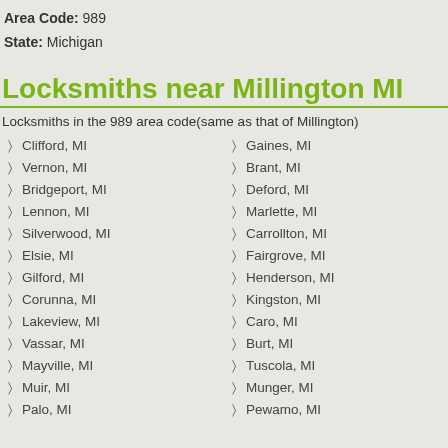Area Code: 989
State: Michigan
Locksmiths near Millington MI
Locksmiths in the 989 area code(same as that of Millington)
Clifford, MI
Vernon, MI
Bridgeport, MI
Lennon, MI
Silverwood, MI
Elsie, MI
Gilford, MI
Corunna, MI
Lakeview, MI
Vassar, MI
Mayville, MI
Muir, MI
Palo, MI
Gaines, MI
Brant, MI
Deford, MI
Marlette, MI
Carrollton, MI
Fairgrove, MI
Henderson, MI
Kingston, MI
Caro, MI
Burt, MI
Tuscola, MI
Munger, MI
Pewamo, MI